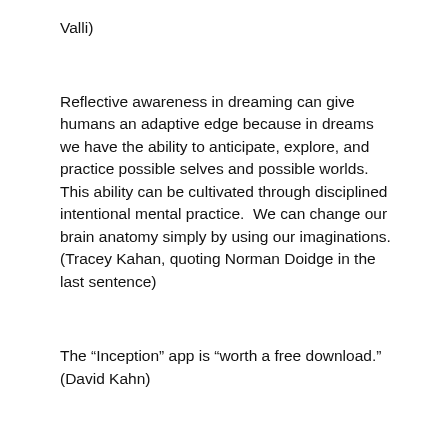Valli)
Reflective awareness in dreaming can give humans an adaptive edge because in dreams we have the ability to anticipate, explore, and practice possible selves and possible worlds.  This ability can be cultivated through disciplined intentional mental practice.  We can change our brain anatomy simply by using our imaginations. (Tracey Kahan, quoting Norman Doidge in the last sentence)
The “Inception” app is “worth a free download.” (David Kahn)